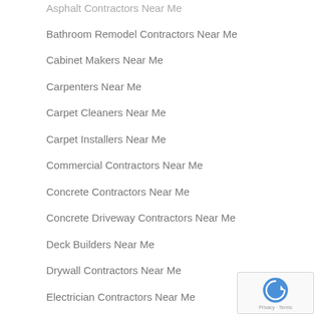Asphalt Contractors Near Me
Bathroom Remodel Contractors Near Me
Cabinet Makers Near Me
Carpenters Near Me
Carpet Cleaners Near Me
Carpet Installers Near Me
Commercial Contractors Near Me
Concrete Contractors Near Me
Concrete Driveway Contractors Near Me
Deck Builders Near Me
Drywall Contractors Near Me
Electrician Contractors Near Me
Elevator Contractors Near Me